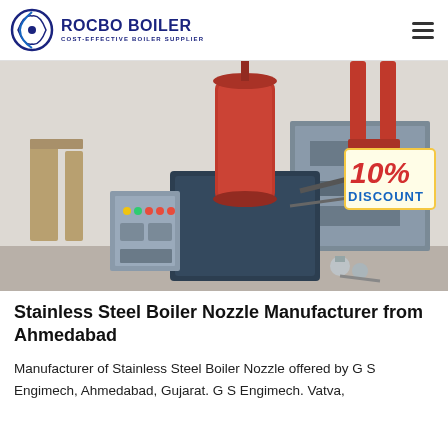ROCBO BOILER — COST-EFFECTIVE BOILER SUPPLIER
[Figure (photo): Industrial boiler equipment with a red cylindrical stack/burner assembly mounted on a dark metal body, control panel on the left with colored indicator lights, piping visible in background, and a '10% DISCOUNT' badge overlaid on the upper right of the image.]
Stainless Steel Boiler Nozzle Manufacturer from Ahmedabad
Manufacturer of Stainless Steel Boiler Nozzle offered by G S Engimech, Ahmedabad, Gujarat. G S Engimech. Vatva,